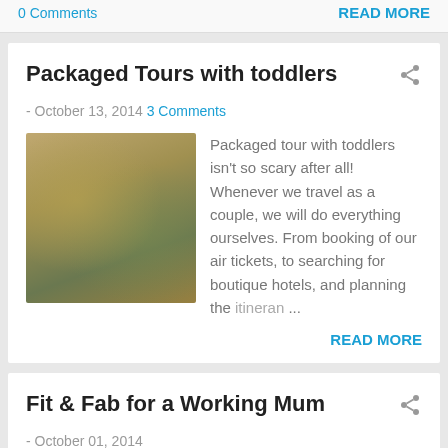0 Comments
READ MORE
Packaged Tours with toddlers
- October 13, 2014 3 Comments
[Figure (photo): Photo of packaged food items on a table]
Packaged tour with toddlers isn't so scary after all! Whenever we travel as a couple, we will do everything ourselves. From booking of our air tickets, to searching for boutique hotels, and planning the itineran...
READ MORE
Fit & Fab for a Working Mum
- October 01, 2014